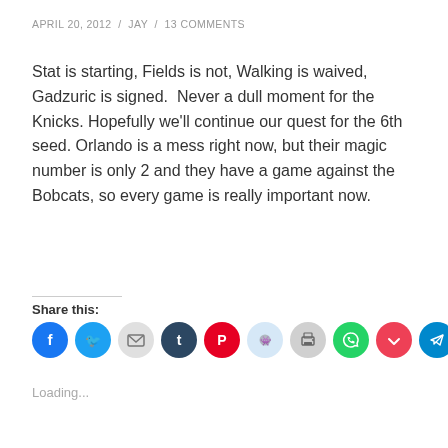APRIL 20, 2012 / JAY / 13 COMMENTS
Stat is starting, Fields is not, Walking is waived, Gadzuric is signed.  Never a dull moment for the Knicks. Hopefully we'll continue our quest for the 6th seed. Orlando is a mess right now, but their magic number is only 2 and they have a game against the Bobcats, so every game is really important now.
Share this:
[Figure (infographic): Row of 10 social share icon circles: Facebook (blue), Twitter (blue), Email (light gray), Tumblr (dark navy), Pinterest (red), Reddit (light blue), Print (light gray), WhatsApp (green), Pocket (dark red/crimson), Telegram (blue)]
Loading...